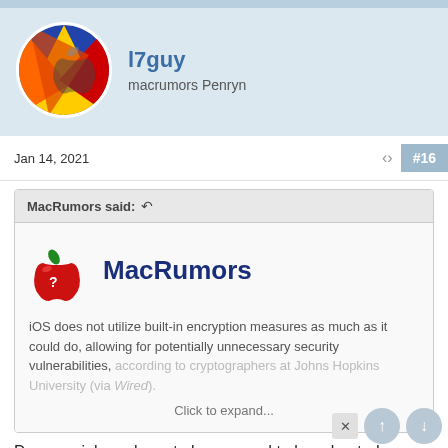l7guy
macrumors Penryn
Jan 14, 2021   #16
MacRumors said: ↩
[Figure (logo): MacRumors logo with apple icon and text MacRumors]
iOS does not utilize built-in encryption measures as much as it could do, allowing for potentially unnecessary security vulnerabilities, according to cryptographers at Johns Hopkins University (via Wired).
Click to expand...
Does my iphone have to be, or need to be rebooted every day?